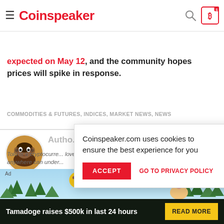Coinspeaker
not be a direct correlation between Bitcoin and oil. However, this may have affect Bitcoin directly. The halving is expected on May 12, and the community hopes prices will spike in response.
COMMODITIES & FUTURES, INDICES, MARKET NEWS, NEWS
[Figure (screenshot): Author photo - circular portrait of a young man with headphones]
Author
Tolu is a cryptocurrency... loves to demystify cry... anywhere can under...
when he's not neck-deep in crypto stories, Tolu enjoys music, loves to
[Figure (other): Cookie consent popup: Coinspeaker.com uses cookies to ensure the best experience for you, with ACCEPT and GO TO PRIVACY POLICY buttons]
[Figure (other): Tamadoge advertisement banner: Tamadoge raises $500k in last 24 hours with READ MORE button]